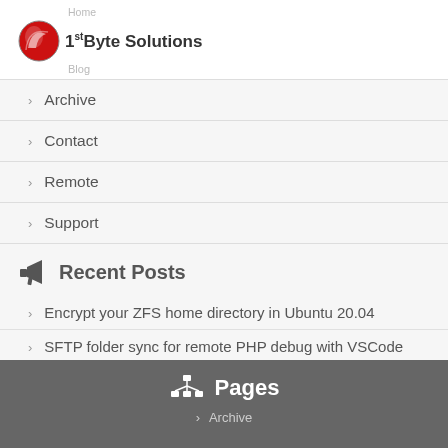Home
[Figure (logo): 1st Byte Solutions logo with red circular icon and bold text]
Blog
› Archive
› Contact
› Remote
› Support
Recent Posts
› Encrypt your ZFS home directory in Ubuntu 20.04
› SFTP folder sync for remote PHP debug with VSCode
› Get a specific line from file and print tab characters in Linux
Pages
› Archive